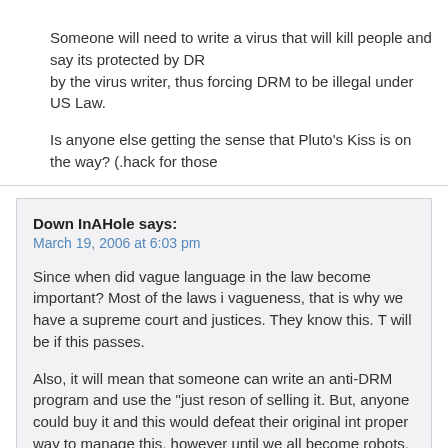Someone will need to write a virus that will kill people and say its protected by DR by the virus writer, thus forcing DRM to be illegal under US Law.

Is anyone else getting the sense that Pluto's Kiss is on the way? (.hack for those
Down InAHole says:
March 19, 2006 at 6:03 pm
Since when did vague language in the law become important? Most of the laws i vagueness, that is why we have a supreme court and justices. They know this. T will be if this passes.
Also, it will mean that someone can write an anti-DRM program and use the "just reson of selling it. But, anyone could buy it and this would defeat their original int proper way to manage this, however until we all become robots, this whole DRM
BTW – If everyone in this group really feels stongly against this, why doesn't som suit against DRM. Any suit can end up in the supremes, which would allow the w
matt says:
March 20, 2006 at 5:12 am